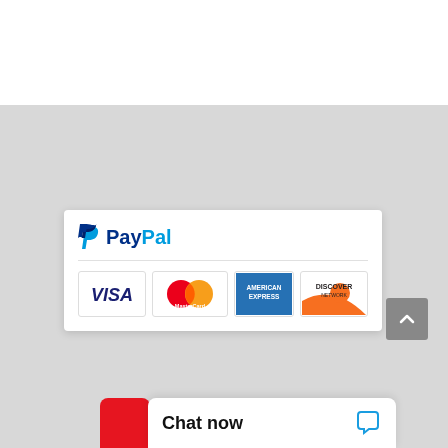[Figure (screenshot): Payment methods widget showing PayPal logo and credit card logos: Visa, MasterCard, American Express, Discover Network]
[Figure (screenshot): Chat now button widget at the bottom of the page with chat icon]